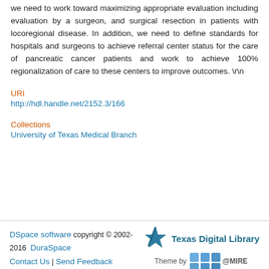we need to work toward maximizing appropriate evaluation including evaluation by a surgeon, and surgical resection in patients with locoregional disease. In addition, we need to define standards for hospitals and surgeons to achieve referral center status for the care of pancreatic cancer patients and work to achieve 100% regionalization of care to these centers to improve outcomes. \r\n
URI
http://hdl.handle.net/2152.3/166
Collections
University of Texas Medical Branch
DSpace software copyright © 2002-2016  DuraSpace  Contact Us | Send Feedback   Theme by @MIRE  Texas Digital Library